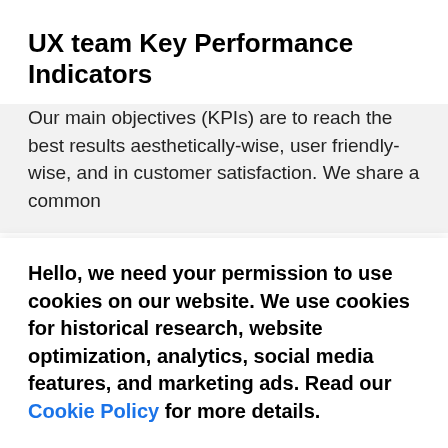UX team Key Performance Indicators
Our main objectives (KPIs) are to reach the best results aesthetically-wise, user friendly-wise, and in customer satisfaction. We share a common
Hello, we need your permission to use cookies on our website. We use cookies for historical research, website optimization, analytics, social media features, and marketing ads. Read our Cookie Policy for more details.